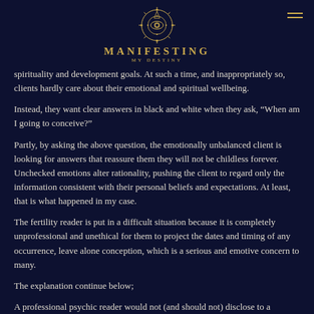MANIFESTING MY DESTINY
spirituality and development goals. At such a time, and inappropriately so, clients hardly care about their emotional and spiritual wellbeing.
Instead, they want clear answers in black and white when they ask, “When am I going to conceive?”
Partly, by asking the above question, the emotionally unbalanced client is looking for answers that reassure them they will not be childless forever. Unchecked emotions alter rationality, pushing the client to regard only the information consistent with their personal beliefs and expectations. At least, that is what happened in my case.
The fertility reader is put in a difficult situation because it is completely unprofessional and unethical for them to project the dates and timing of any occurrence, leave alone conception, which is a serious and emotive concern to many.
The explanation continue below;
A professional psychic reader would not (and should not) disclose to a